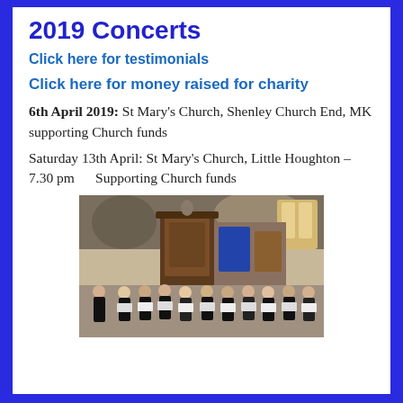2019 Concerts
Click here for testimonials
Click here for money raised for charity
6th April 2019:  St Mary's Church, Shenley Church End, MK supporting Church funds
Saturday 13th April:    St Mary's Church, Little Houghton – 7.30 pm        Supporting Church funds
[Figure (photo): Choir performing inside a historic stone church with wooden pulpit and ornate altar, singers in black attire holding music sheets]